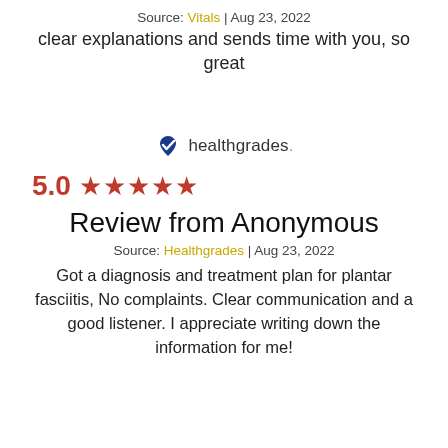Source: Vitals | Aug 23, 2022
clear explanations and sends time with you, so great
[Figure (logo): Healthgrades logo with blue heart/checkmark icon and text 'healthgrades.']
5.0 ★★★★★
Review from Anonymous
Source: Healthgrades | Aug 23, 2022
Got a diagnosis and treatment plan for plantar fasciitis, No complaints. Clear communication and a good listener. I appreciate writing down the information for me!